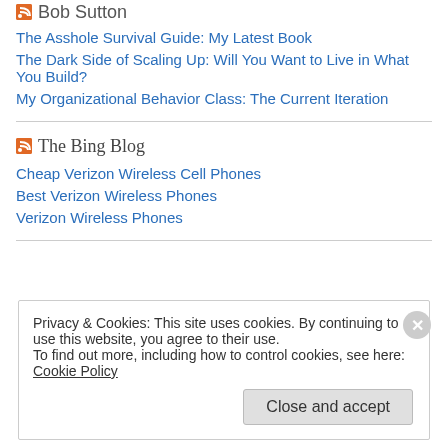Bob Sutton
The Asshole Survival Guide: My Latest Book
The Dark Side of Scaling Up: Will You Want to Live in What You Build?
My Organizational Behavior Class: The Current Iteration
The Bing Blog
Cheap Verizon Wireless Cell Phones
Best Verizon Wireless Phones
Verizon Wireless Phones
Privacy & Cookies: This site uses cookies. By continuing to use this website, you agree to their use.
To find out more, including how to control cookies, see here: Cookie Policy
Close and accept